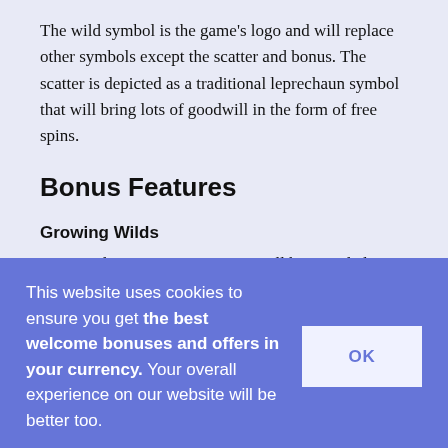The wild symbol is the game's logo and will replace other symbols except the scatter and bonus. The scatter is depicted as a traditional leprechaun symbol that will bring lots of goodwill in the form of free spins.
Bonus Features
Growing Wilds
On a random occasion, a respin will be awarded
This website uses cookies to ensure you get the best welcome bonuses and offers in your currency. Your overall experience on our website will be better too.
OK